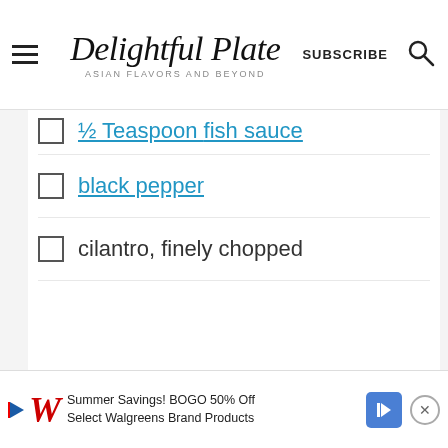Delightful Plate — ASIAN FLAVORS and BEYOND — SUBSCRIBE
½ Teaspoon fish sauce (link, partially cut off)
black pepper
cilantro, finely chopped
Summer Savings! BOGO 50% Off Select Walgreens Brand Products